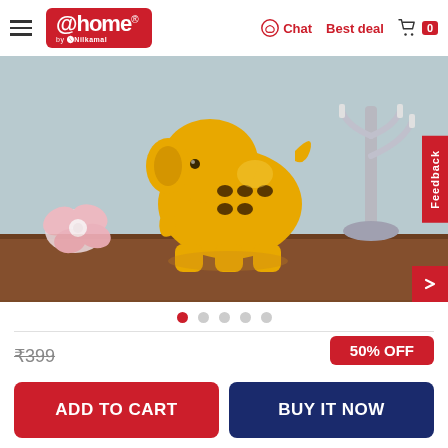@home by Nilkamal | Chat | Best deal | Cart 0
[Figure (photo): Yellow ceramic elephant figurine on a wooden surface with a pink flower and silver candelabra in the background. A red Feedback tab appears on the right edge.]
50% OFF
₹399
ADD TO CART
BUY IT NOW